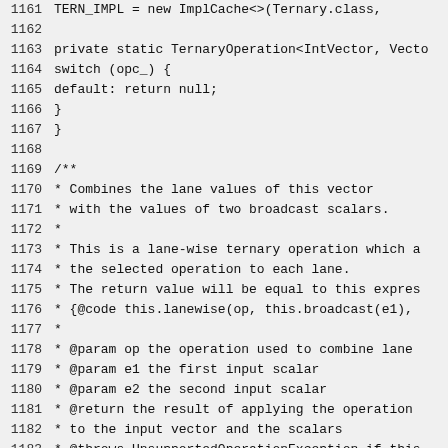Source code lines 1161-1190 showing Java code with line numbers. Contains code for TERN_IMPL ImplCache, private static TernaryOperation method with switch/opc_ block, and a Javadoc comment block for a lanewise method that combines lane values with two broadcast scalars.